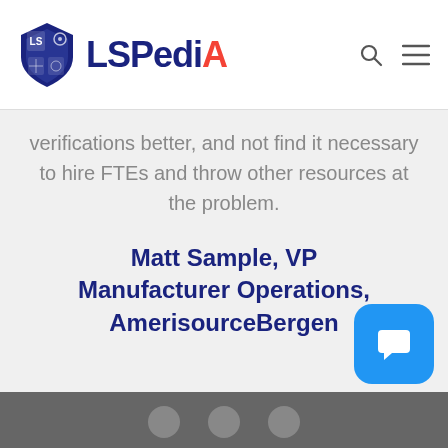LSPediA
verifications better, and not find it necessary to hire FTEs and throw other resources at the problem.
Matt Sample, VP Manufacturer Operations, AmerisourceBergen
[Figure (other): Blue chat/messaging button widget in bottom right corner]
Footer with social media circle icons